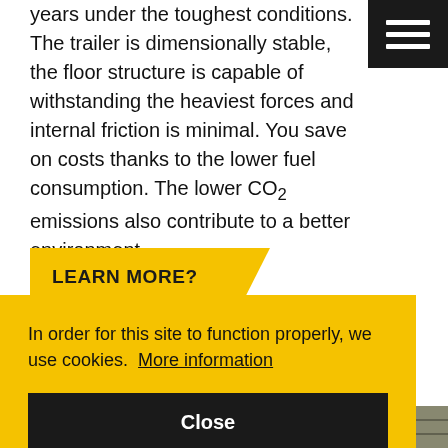years under the toughest conditions. The trailer is dimensionally stable, the floor structure is capable of withstanding the heaviest forces and internal friction is minimal. You save on costs thanks to the lower fuel consumption. The lower CO₂ emissions also contribute to a better environment.
LEARN MORE?
In order for this site to function properly, we use cookies. More information
Close
[Figure (photo): Bottom strip showing partial view of a trailer or vehicle floor structure]